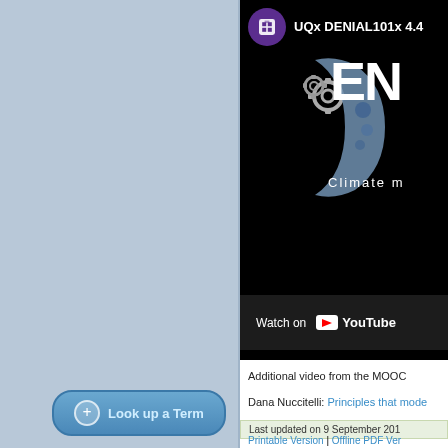[Figure (screenshot): Left sidebar panel with light blue-grey background and 'Look up a Term' button at bottom]
[Figure (screenshot): Video thumbnail for UQx DENIAL101x 4.4 MOOC course showing crescent moon/earth graphic with 'DEN' text, gears, 'Climate m...' subtitle, and YouTube Watch on button]
Additional video from the MOOC
Dana Nuccitelli: Principles that mode...
Last updated on 9 September 201...
Printable Version | Offline PDF Ver...